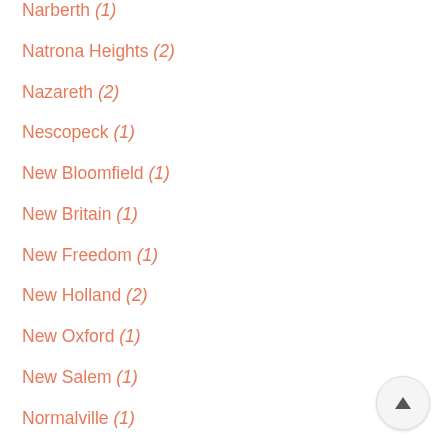Narberth (1)
Natrona Heights (2)
Nazareth (2)
Nescopeck (1)
New Bloomfield (1)
New Britain (1)
New Freedom (1)
New Holland (2)
New Oxford (1)
New Salem (1)
Normalville (1)
Norristown (3)